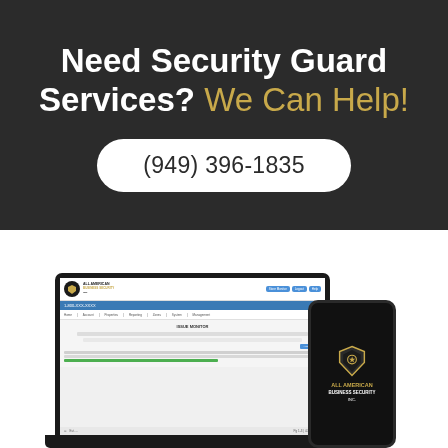Need Security Guard Services? We Can Help!
(949) 396-1835
[Figure (screenshot): Screenshot of All American Business Security Inc website shown on a laptop and a mobile phone, displaying the company dashboard/portal interface]